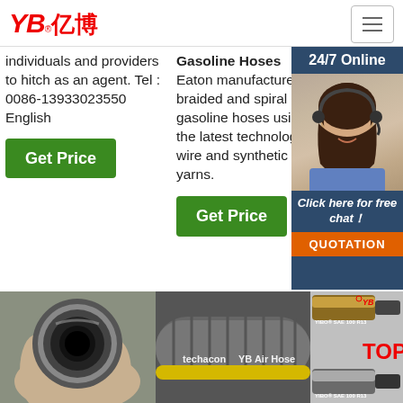[Figure (logo): YB亿博 logo in red with registered trademark symbol]
individuals and providers to hitch as an agent. Tel : 0086-13933023550 English
Gasoline Hoses Eaton manufactures braided and spiral gasoline hoses using the latest technology in wire and synthetic yarns.
[Figure (infographic): 24/7 Online customer support agent photo with chat and quotation button]
Get Price
Get Price
[Figure (photo): Rubber hose end cross-section held in hand]
[Figure (photo): YB Air Hose rubber hose with yellow stripe]
[Figure (photo): Two YIBO SAE 100 R13 hydraulic hose fittings with TOP logo]